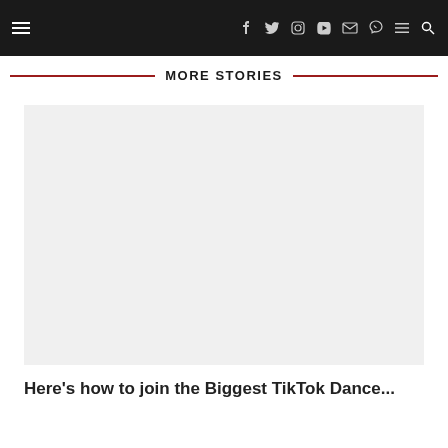Navigation bar with hamburger menu, social icons (Facebook, Twitter, Instagram, YouTube, Email, Viber), menu, and search
MORE STORIES
[Figure (photo): Empty light gray image placeholder for a TikTok dance article]
Here’s how to join the Biggest TikTok Dance...